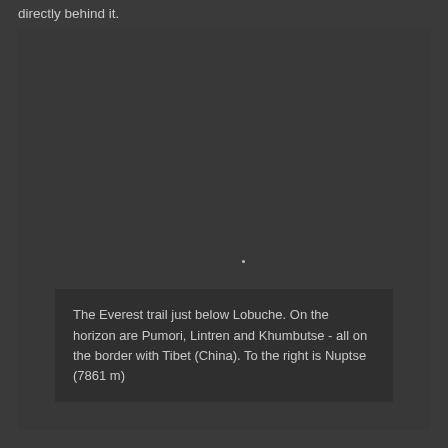directly behind it.
[Figure (photo): A dark mountain trail scene showing the Everest trail just below Lobuche with mountains on the horizon including Pumori, Lintren and Khumbutse on the Tibet (China) border, and Nuptse (7861 m) to the right. The image appears very dark/underexposed.]
The Everest trail just below Lobuche. On the horizon are Pumori, Lintren and Khumbutse - all on the border with Tibet (China). To the right is Nuptse (7861 m)